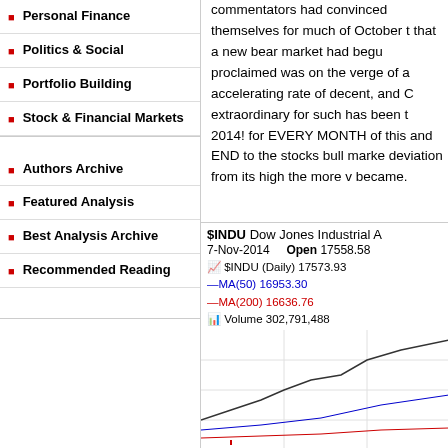Personal Finance
Politics & Social
Portfolio Building
Stock & Financial Markets
Authors Archive
Featured Analysis
Best Analysis Archive
Recommended Reading
commentators had convinced themselves for much of October that a new bear market had begun, proclaimed was on the verge of accelerating rate of decent, and extraordinary for such has been 2014! for EVERY MONTH of this and END to the stocks bull market deviation from its high the more became.
[Figure (continuous-plot): $INDU Dow Jones Industrial Average stock chart, 7-Nov-2014, Open 17558.58, $INDU (Daily) 17573.93, MA(50) 16953.30, MA(200) 16636.76, Volume 302,791,488]